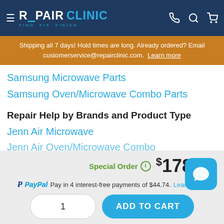REPAIR CLINIC — FIND. FIX. FINISH.
Shipping all 7 days! Hold times are long. Already ordered? Email customerservice@repairclinic.com. Learn more
Samsung Microwave Parts
Samsung Oven/Microwave Combo Parts
Repair Help by Brands and Product Type
Jenn Air Microwave
Jenn Air Oven/Microwave Combo
Special Order  $178.96
PayPal Pay in 4 interest-free payments of $44.74. Learn more
1   ADD TO CART